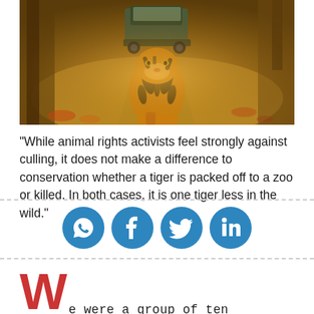[Figure (photo): A Bengal tiger walking along a dirt road toward the camera, with a jeep visible in the background among trees and warm golden-brown forest surroundings.]
"While animal rights activists feel strongly against culling, it does not make a difference to conservation whether a tiger is packed off to a zoo or killed. In both cases, it is one tiger less in the wild."
[Figure (infographic): Four social media sharing icons: WhatsApp (speech bubble with phone), Facebook (f), Twitter (bird), LinkedIn (in), all displayed as white icons on blue circles.]
We were a group of ten teenagers, walking